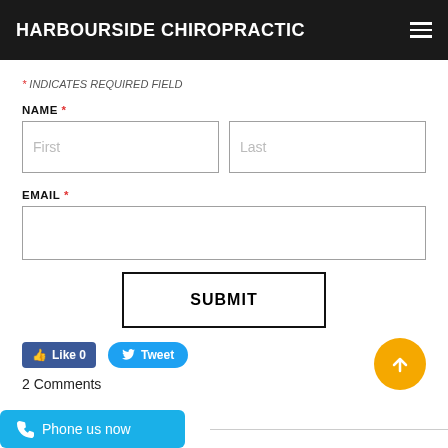HARBOURSIDE CHIROPRACTIC
* INDICATES REQUIRED FIELD
NAME *
First
Last
EMAIL *
SUBMIT
Like 0
Tweet
2 Comments
Phone us now